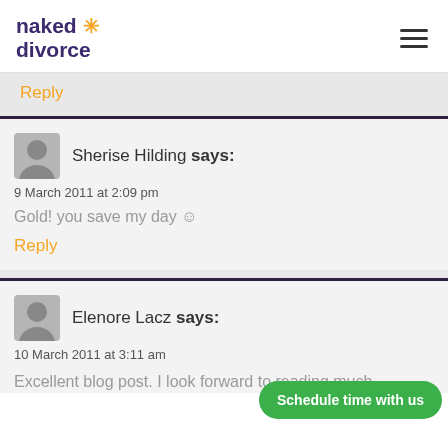naked divorce (logo with star icon) and hamburger menu
Reply
Sherise Hilding says:
9 March 2011 at 2:09 pm
Gold! you save my day ☺
Reply
Elenore Lacz says:
10 March 2011 at 3:11 am
Excellent blog post. I look forward to reading much
Schedule time with us